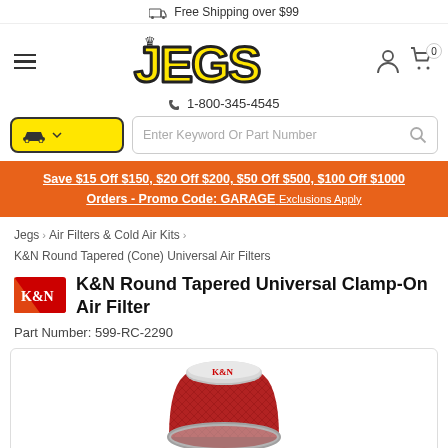Free Shipping over $99
[Figure (logo): JEGS logo in yellow bold text with crown]
1-800-345-4545
Save $15 Off $150, $20 Off $200, $50 Off $500, $100 Off $1000 Orders - Promo Code: GARAGE Exclusions Apply
Jegs > Air Filters & Cold Air Kits > K&N Round Tapered (Cone) Universal Air Filters
K&N Round Tapered Universal Clamp-On Air Filter
Part Number: 599-RC-2290
[Figure (photo): K&N Round Tapered Universal Clamp-On Air Filter product photo showing chrome top and red filter body]